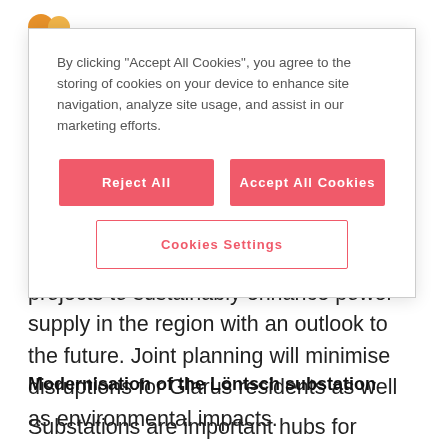[Figure (screenshot): Cookie consent modal dialog with 'Reject All', 'Accept All Cookies', and 'Cookies Settings' buttons on a white background with border]
projects to sustainably enhance power supply in the region with an outlook to the future. Joint planning will minimise disruptions for Glarus residents as well as environmental impacts.
Modernisation of the Löntsch substation
Substations are important hubs for transporting